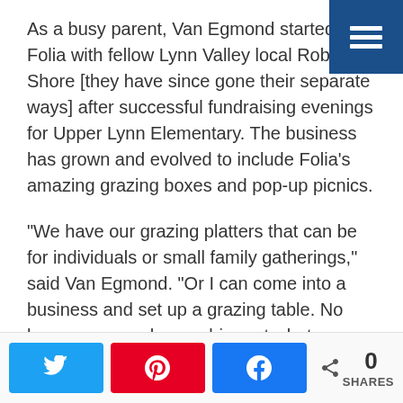As a busy parent, Van Egmond started Folia with fellow Lynn Valley local Robin Shore [they have since gone their separate ways] after successful fundraising evenings for Upper Lynn Elementary. The business has grown and evolved to include Folia's amazing grazing boxes and pop-up picnics.
“We have our grazing platters that can be for individuals or small family gatherings,” said Van Egmond. “Or I can come into a business and set up a grazing table. No longer can you have a big party, but we can help you celebrate in a more relaxed way over an afternoon or an evening where people pop in to get a few bites now and then.”
A full events company, Folia offers stunning picnics